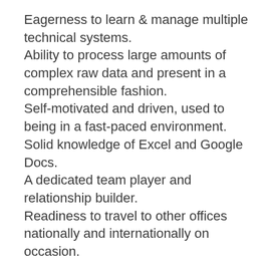Eagerness to learn & manage multiple technical systems.
Ability to process large amounts of complex raw data and present in a comprehensible fashion.
Self-motivated and driven, used to being in a fast-paced environment.
Solid knowledge of Excel and Google Docs.
A dedicated team player and relationship builder.
Readiness to travel to other offices nationally and internationally on occasion.
Preferred:
Previous knowledge and experience of Contact Center planning in an emerging tech company
Previous experience scheduling across multiple languages
Previous experience scheduling regional